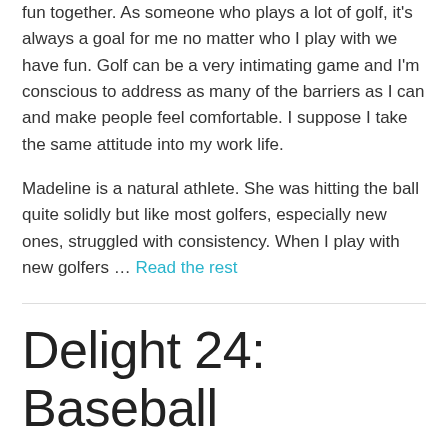fun together. As someone who plays a lot of golf, it's always a goal for me no matter who I play with we have fun. Golf can be a very intimating game and I'm conscious to address as many of the barriers as I can and make people feel comfortable. I suppose I take the same attitude into my work life.
Madeline is a natural athlete. She was hitting the ball quite solidly but like most golfers, especially new ones, struggled with consistency. When I play with new golfers … Read the rest
Delight 24: Baseball